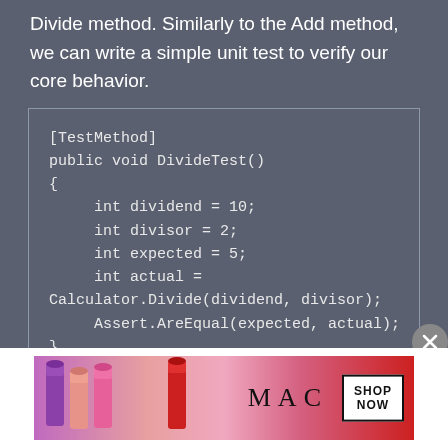Divide method. Similarly to the Add method, we can write a simple unit test to verify our core behavior.
[Figure (screenshot): Code block showing a C# unit test method named DivideTest with [TestMethod] attribute, declaring int variables dividend=10, divisor=2, expected=5, actual=Calculator.Divide(dividend, divisor), and Assert.AreEqual(expected, actual)]
[Figure (photo): Advertisement banner for MAC cosmetics showing lipsticks and SHOP NOW button]